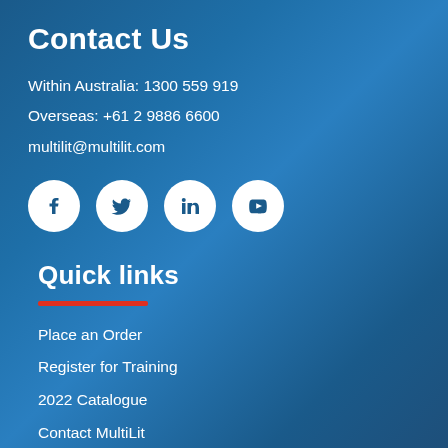Contact Us
Within Australia: 1300 559 919
Overseas: +61 2 9886 6600
multilit@multilit.com
[Figure (other): Four social media icons (Facebook, Twitter, LinkedIn, YouTube) displayed as white circles on blue background]
Quick links
Place an Order
Register for Training
2022 Catalogue
Contact MultiLit